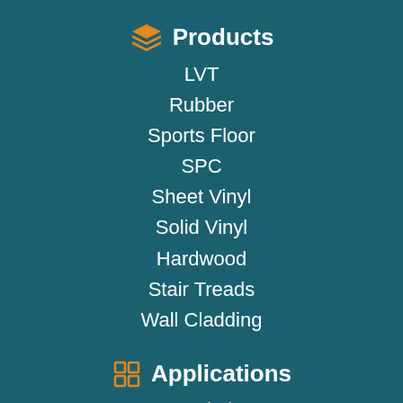Products
LVT
Rubber
Sports Floor
SPC
Sheet Vinyl
Solid Vinyl
Hardwood
Stair Treads
Wall Cladding
Applications
Hospitals